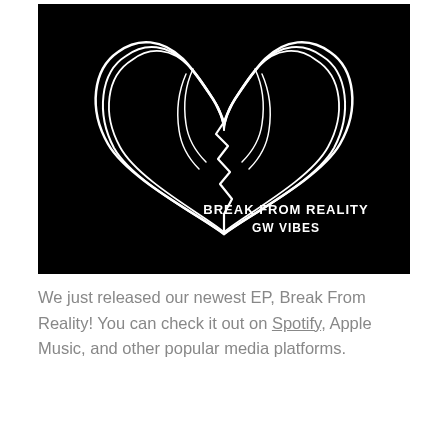[Figure (illustration): Album cover art for 'Break From Reality' by GW Vibes. Black background with a white line-art drawing of a broken heart made of flowing curved lines. Text in the lower right reads 'BREAK FROM REALITY' and 'GW VIBES' in white bold uppercase letters.]
We just released our newest EP, Break From Reality! You can check it out on Spotify, Apple Music, and other popular media platforms.